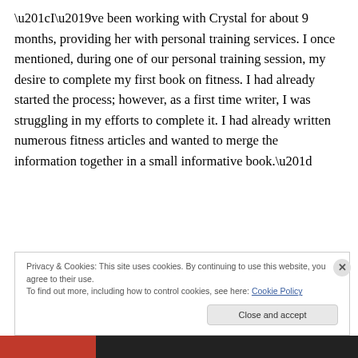“I’ve been working with Crystal for about 9 months, providing her with personal training services. I once mentioned, during one of our personal training session, my desire to complete my first book on fitness. I had already started the process; however, as a first time writer, I was struggling in my efforts to complete it. I had already written numerous fitness articles and wanted to merge the information together in a small informative book.”
Privacy & Cookies: This site uses cookies. By continuing to use this website, you agree to their use. To find out more, including how to control cookies, see here: Cookie Policy